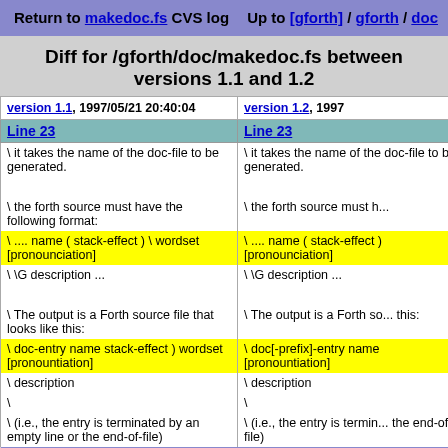Return to makedoc.fs CVS log | Up to [gforth] / gforth / doc
Diff for /gforth/doc/makedoc.fs between versions 1.1 and 1.2
| version 1.1, 1997/05/21 20:40:04 | version 1.2, 1997... |
| --- | --- |
| Line 23 | Line 23 |
| \ it takes the name of the doc-file to be generated. | \ it takes the name of the doc-file to be generated. |
| \ the forth source must have the following format: | \ the forth source must h... |
| \ .... name ( stack-effect ) \ wordset [pronounciation] | \ .... name ( stack-effect ) [pronounciation] |
| \ \G description ... | \ \G description ... |
| \ The output is a Forth source file that looks like this: | \ The output is a Forth source file that looks like this: |
| \ doc-entry name stack-effect ) wordset [pronountiation] | \ doc[-prefix]-entry name [pronountiation] |
| \ description | \ description |
| \ | \ |
| \ (i.e., the entry is terminated by an empty line or the end-of-file) | \ (i.e., the entry is terminated by an empty line or the end-of-file) |